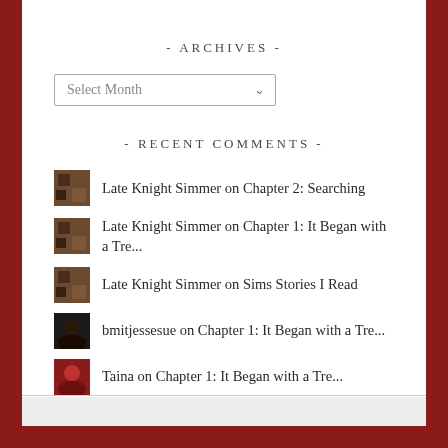- ARCHIVES -
Select Month
- RECENT COMMENTS -
Late Knight Simmer on Chapter 2: Searching
Late Knight Simmer on Chapter 1: It Began with a Tre...
Late Knight Simmer on Sims Stories I Read
bmitjessesue on Chapter 1: It Began with a Tre...
Taina on Chapter 1: It Began with a Tre...